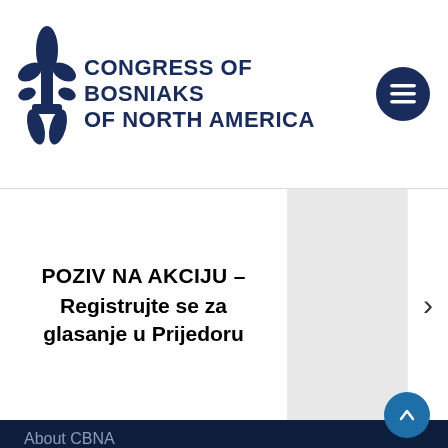[Figure (logo): Congress of Bosniaks of North America logo with fleur-de-lis symbol and text]
POZIV NA AKCIJU – Registrujte se za glasanje u Prijedoru
About CBNA
About Bosniaks
Our Team